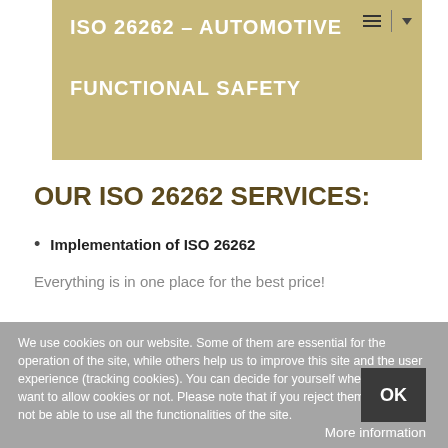ISO 26262 – AUTOMOTIVE FUNCTIONAL SAFETY
OUR ISO 26262 SERVICES:
Implementation of ISO 26262
Everything is in one place for the best price!
We use cookies on our website. Some of them are essential for the operation of the site, while others help us to improve this site and the user experience (tracking cookies). You can decide for yourself whether you want to allow cookies or not. Please note that if you reject them, you may not be able to use all the functionalities of the site.
OK
More information